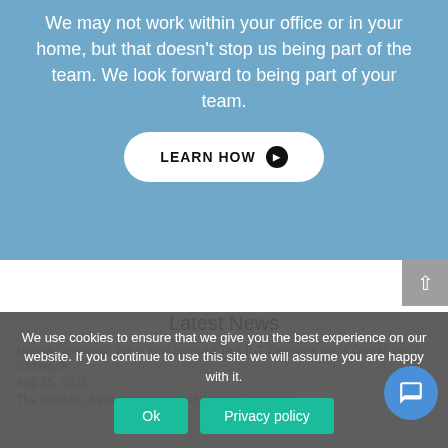We may not work within your office or in your home, but that doesn't stop us being part of the team. We look forward to being part of your team.
[Figure (other): White rounded button with black text 'LEARN HOW' and a black circle arrow icon]
Latest News
Home Security: Why You Should Put IoT Devices on a Guest WiFi Network
Aug 15, 2022
The number of internet-connected devices in homes...
We use cookies to ensure that we give you the best experience on our website. If you continue to use this site we will assume you are happy with it.